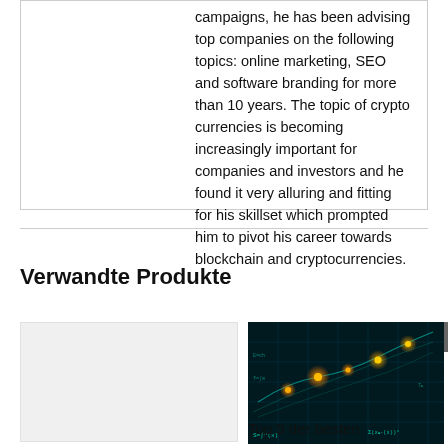campaigns, he has been advising top companies on the following topics: online marketing, SEO and software branding for more than 10 years. The topic of crypto currencies is becoming increasingly important for companies and investors and he found it very alluring and fitting for his skillset which prompted him to pivot his career towards blockchain and cryptocurrencies.
Verwandte Produkte
[Figure (photo): Light gray placeholder box for a product image]
[Figure (photo): Dark teal background with bright yellow-orange glowing network nodes and mathematical formula overlays, representing crypto/blockchain mathematics]
Top 9 der besten